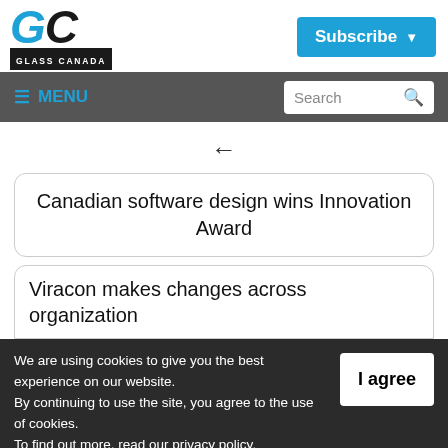[Figure (logo): Glass Canada logo with GC letters and GLASS CANADA text below]
[Figure (other): Subscribe button with dropdown arrow]
[Figure (other): Navigation bar with MENU and Search]
←
Canadian software design wins Innovation Award
Viracon makes changes across organization
We are using cookies to give you the best experience on our website.
By continuing to use the site, you agree to the use of cookies.
To find out more, read our privacy policy.